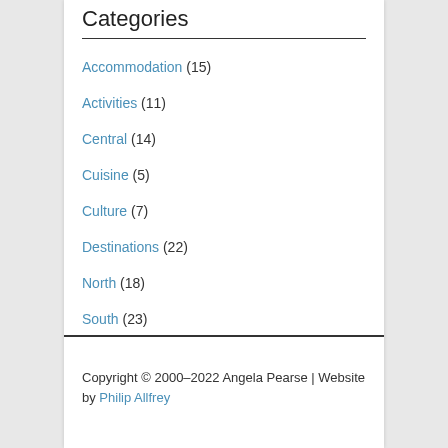Categories
Accommodation (15)
Activities (11)
Central (14)
Cuisine (5)
Culture (7)
Destinations (22)
North (18)
South (23)
Copyright © 2000–2022 Angela Pearse | Website by Philip Allfrey